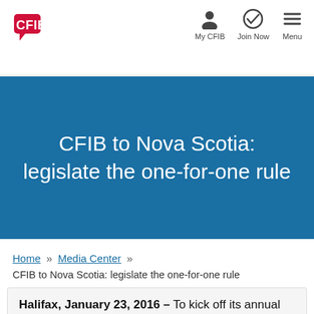[Figure (logo): CFIB logo in red with speech bubble icon]
[Figure (infographic): Navigation icons: My CFIB (person icon), Join Now (checkmark icon), Menu (hamburger icon)]
CFIB to Nova Scotia: legislate the one-for-one rule
Home » Media Center »
CFIB to Nova Scotia: legislate the one-for-one rule
Halifax, January 23, 2016 – To kick off its annual Red Tape Awareness Week, the